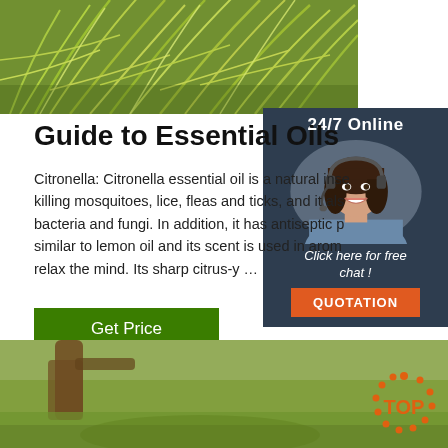[Figure (photo): Green citronella grass plant with long narrow leaves, top banner image]
[Figure (infographic): 24/7 Online chat widget with a woman wearing a headset, 'Click here for free chat!' text, and QUOTATION button]
Guide to Essential Oils
Citronella: Citronella essential oil is a natural inse... killing mosquitoes, lice, fleas and ticks, and it als... bacteria and fungi. In addition, it has antiseptic p... similar to lemon oil and its scent is used in arom... relax the mind. Its sharp citrus-y ...
[Figure (other): Get Price green button]
[Figure (photo): Bottom banner image showing blurred garden/outdoor scene with grass]
[Figure (logo): TOP logo with orange dots forming a circle around the word TOP]